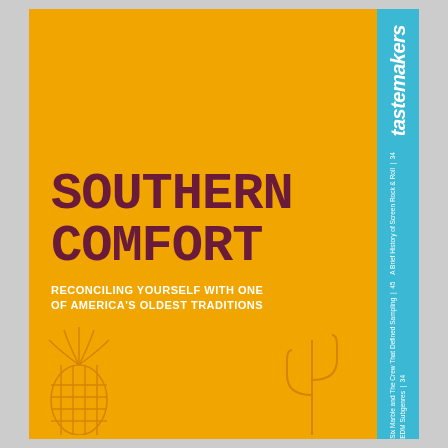[Figure (logo): tastemakers magazine logo in italic bold white font on cyan/teal sidebar]
SOUTHERN COMFORT
RECONCILING YOURSELF WITH ONE OF AMERICA'S OLDEST TRADITIONS
Six Marble and The Crew That Defined Sampling | 45  A Brief History of Screen Rock & Roll | 34  EDM Subgenres | 34
[Figure (illustration): Outline of a cactus in darker orange/amber color on orange background, bottom right]
[Figure (illustration): Outline of a pineapple in darker orange/amber color on orange background, bottom left]